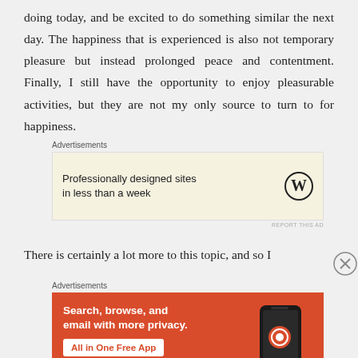doing today, and be excited to do something similar the next day. The happiness that is experienced is also not temporary pleasure but instead prolonged peace and contentment. Finally, I still have the opportunity to enjoy pleasurable activities, but they are not my only source to turn to for happiness.
[Figure (other): WordPress advertisement: 'Professionally designed sites in less than a week' with WordPress logo]
There is certainly a lot more to this topic, and so I
[Figure (other): DuckDuckGo advertisement: 'Search, browse, and email with more privacy. All in One Free App' with phone graphic and DuckDuckGo logo]